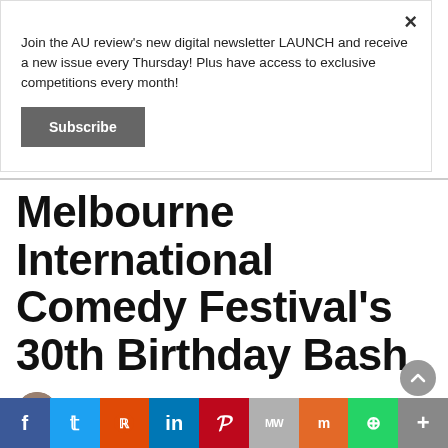Join the AU review's new digital newsletter LAUNCH and receive a new issue every Thursday! Plus have access to exclusive competitions every month!
Subscribe
Melbourne International Comedy Festival's 30th Birthday Bash
Daniel Jaramillo   March 7, 2016   Comments Off